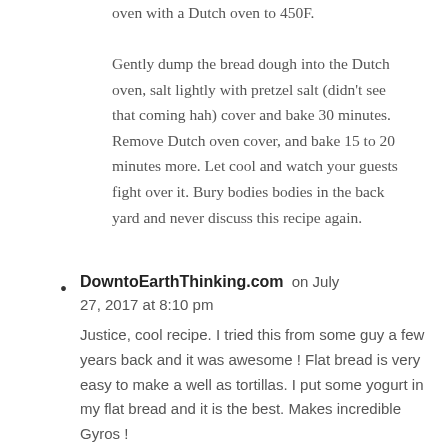oven with a Dutch oven to 450F. Gently dump the bread dough into the Dutch oven, salt lightly with pretzel salt (didn't see that coming hah) cover and bake 30 minutes. Remove Dutch oven cover, and bake 15 to 20 minutes more. Let cool and watch your guests fight over it. Bury bodies bodies in the back yard and never discuss this recipe again.
DowntoEarthThinking.com on July 27, 2017 at 8:10 pm — Justice, cool recipe. I tried this from some guy a few years back and it was awesome ! Flat bread is very easy to make a well as tortillas. I put some yogurt in my flat bread and it is the best. Makes incredible Gyros !